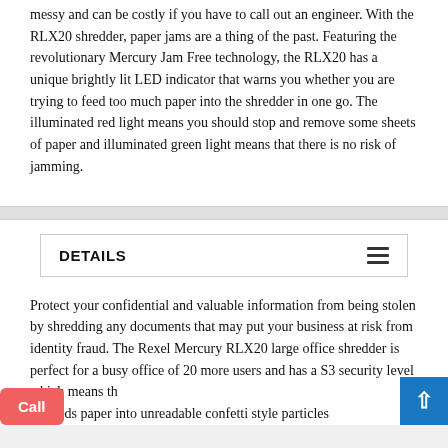messy and can be costly if you have to call out an engineer. With the RLX20 shredder, paper jams are a thing of the past. Featuring the revolutionary Mercury Jam Free technology, the RLX20 has a unique brightly lit LED indicator that warns you whether you are trying to feed too much paper into the shredder in one go. The illuminated red light means you should stop and remove some sheets of paper and illuminated green light means that there is no risk of jamming.
DETAILS
Protect your confidential and valuable information from being stolen by shredding any documents that may put your business at risk from identity fraud. The Rexel Mercury RLX20 large office shredder is perfect for a busy office of 20 more users and has a S3 security level which means that it shreds paper into unreadable confetti style particles